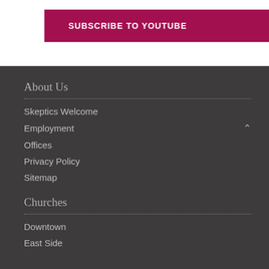[Figure (other): Subscribe to YouTube button — dark crimson/maroon rectangle with white bold uppercase text 'SUBSCRIBE TO YOUTUBE']
About Us
Skeptics Welcome
Employment
Offices
Privacy Policy
Sitemap
Churches
Downtown
East Side